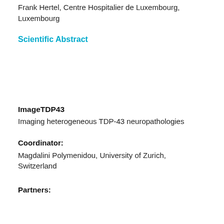Frank Hertel, Centre Hospitalier de Luxembourg, Luxembourg
Scientific Abstract
ImageTDP43
Imaging heterogeneous TDP-43 neuropathologies
Coordinator:
Magdalini Polymenidou, University of Zurich, Switzerland
Partners: